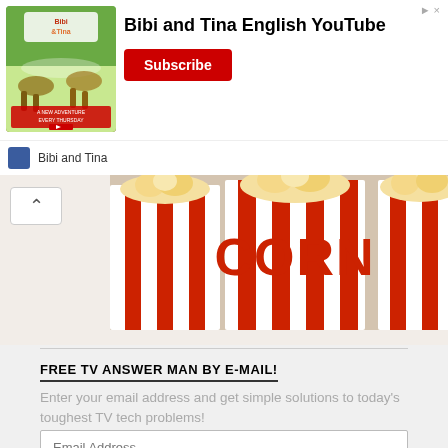[Figure (screenshot): Bibi and Tina English YouTube ad banner with subscribe button and channel icon]
[Figure (photo): Popcorn boxes with red and white stripes showing the word CORN in large red letters]
FREE TV ANSWER MAN BY E-MAIL!
Enter your email address and get simple solutions to today's toughest TV tech problems!
Email Address
Subscribe
Join 1,176 other subscribers